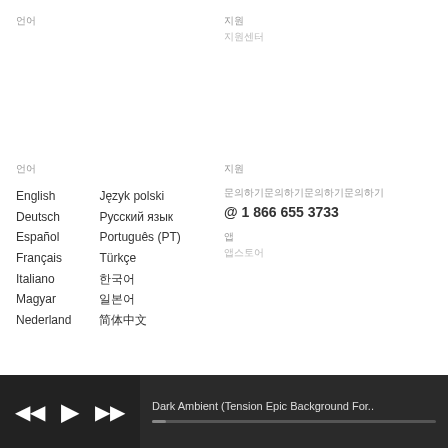언어
지원
지원센터
언어
지원
English
Deutsch
Español
Français
Italiano
Magyar
Nederland
Język polski
Русский язык
Português (PT)
Türkçe
한국어
일본어
简体中文
문의하기문의하기문의하기문의하기
@ 1 866 655 3733
앱
앱스토어
Dark Ambient (Tension Epic Background For..